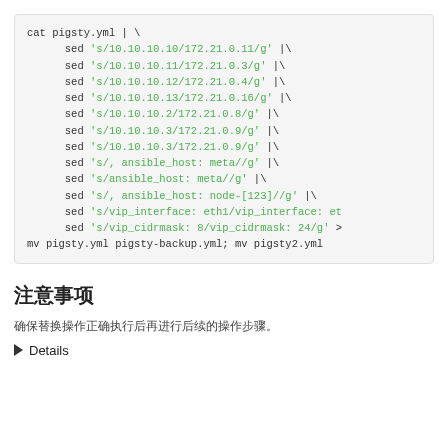cat pigsty.yml | \
      sed 's/10.10.10.10/172.21.0.11/g' |\
      sed 's/10.10.10.11/172.21.0.3/g' |\
      sed 's/10.10.10.12/172.21.0.4/g' |\
      sed 's/10.10.10.13/172.21.0.16/g' |\
      sed 's/10.10.10.2/172.21.0.8/g' |\
      sed 's/10.10.10.3/172.21.0.9/g' |\
      sed 's/10.10.10.3/172.21.0.9/g' |\
      sed 's/, ansible_host: meta//g' |\
      sed 's/ansible_host: meta//g' |\
      sed 's/, ansible_host: node-[123]//g' |\
      sed 's/vip_interface: eth1/vip_interface: et
      sed 's/vip_cidrmask: 8/vip_cidrmask: 24/g' >
mv pigsty.yml pigsty-backup.yml; mv pigsty2.yml
注意事项
确保替换操作正确执行后再进行后续的操作步骤。
▶ Details